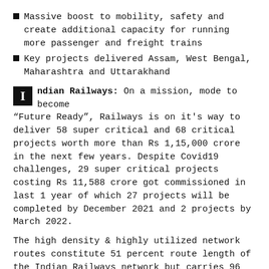Massive boost to mobility, safety and create additional capacity for running more passenger and freight trains
Key projects delivered Assam, West Bengal, Maharashtra and Uttarakhand
Indian Railways: On a mission, mode to become "Future Ready", Railways is on it's way to deliver 58 super critical and 68 critical projects worth more than Rs 1,15,000 crore in the next few years. Despite Covid19 challenges, 29 super critical projects costing Rs 11,588 crore got commissioned in last 1 year of which 27 projects will be completed by December 2021 and 2 projects by March 2022.
The high density & highly utilized network routes constitute 51 percent route length of the Indian Railways network but carries 96 percent of traffic. Based on traffic density, type of commodity moved, importance of ro‸ from strategic considerations etc. the projects requiring